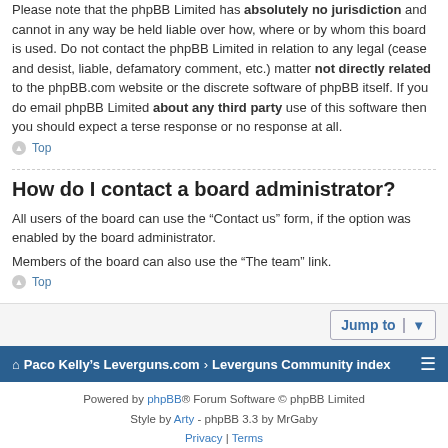Please note that the phpBB Limited has absolutely no jurisdiction and cannot in any way be held liable over how, where or by whom this board is used. Do not contact the phpBB Limited in relation to any legal (cease and desist, liable, defamatory comment, etc.) matter not directly related to the phpBB.com website or the discrete software of phpBB itself. If you do email phpBB Limited about any third party use of this software then you should expect a terse response or no response at all.
Top
How do I contact a board administrator?
All users of the board can use the “Contact us” form, if the option was enabled by the board administrator.
Members of the board can also use the “The team” link.
Top
Jump to
Paco Kelly’s Leverguns.com › Leverguns Community index
Powered by phpBB® Forum Software © phpBB Limited
Style by Arty - phpBB 3.3 by MrGaby
Privacy | Terms